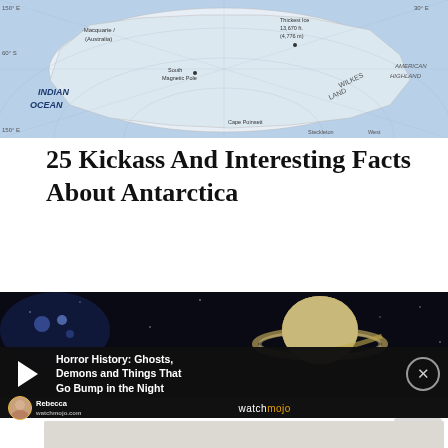[Figure (map): Map of Antarctica showing geographic features including Wilkes Land, American Highland, Mac Robertson Land, Indian Ocean, and location markers for Thickest Ice, South Magnetic Pole, and other features. Light blue background with white continent.]
25 Kickass And Interesting Facts About Antarctica
[Figure (screenshot): Video player overlay showing a dark space image with Saturn planet and rings visible on the right side, blue glowing light on the left. Video title reads: Horror History: Ghosts, Demons and Things That Go Bump in the Night. WatchMojo branding visible at bottom with Rebecca host avatar.]
24 Interesting Facts About Saturn
[Figure (photo): Partially visible image at the bottom of the page with light gray/beige background.]